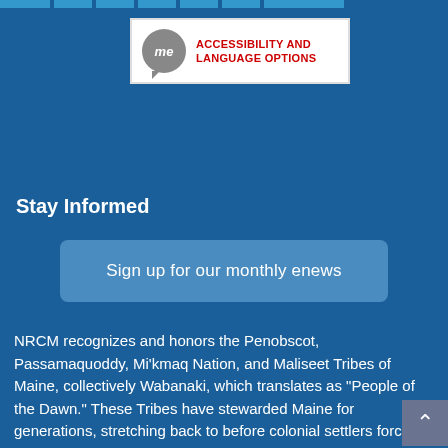[Figure (logo): NRCM 'me' speech bubble logo with text 'ACCESSIBILITY AND LANGUAGE OPTIONS' in red on white background]
Stay Informed
Sign up for our monthly enews
NRCM recognizes and honors the Penobscot, Passamaquoddy, Mi'kmaq Nation, and Maliseet Tribes of Maine, collectively Wabanaki, which translates as "People of the Dawn." These Tribes have stewarded Maine for generations, stretching back to before colonial settlers forcibly occupied the area. The NRCM office in Augusta is on the unceded territory of the Penobscot Indian Nation, and all of us in Maine are on unceded lands once overseen by the Wabanaki. Let us remember this history and move forward